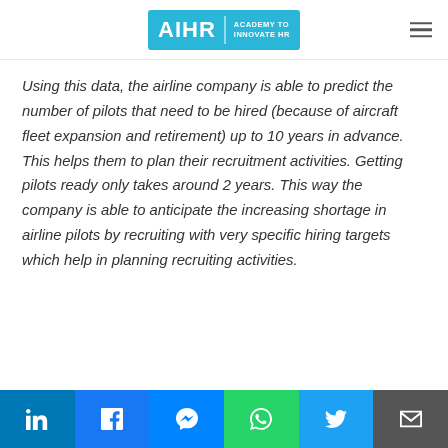AIHR | ACADEMY TO INNOVATE HR
Using this data, the airline company is able to predict the number of pilots that need to be hired (because of aircraft fleet expansion and retirement) up to 10 years in advance. This helps them to plan their recruitment activities. Getting pilots ready only takes around 2 years. This way the company is able to anticipate the increasing shortage in airline pilots by recruiting with very specific hiring targets which help in planning recruiting activities.
LinkedIn | Facebook | Messenger | WhatsApp | Twitter | Email